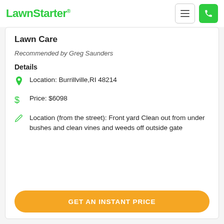LawnStarter
Lawn Care
Recommended by Greg Saunders
Details
Location: Burrillville,RI 48214
Price: $6098
Location (from the street): Front yard Clean out from under bushes and clean vines and weeds off outside gate
GET AN INSTANT PRICE